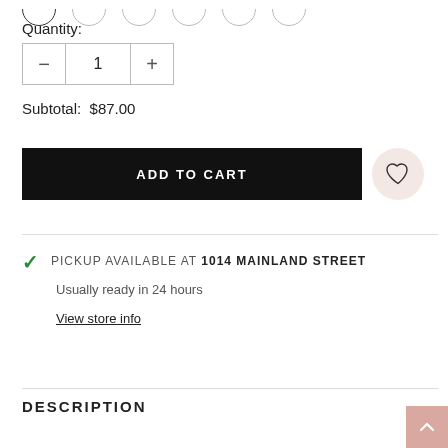Quantity:
1
Subtotal: $87.00
ADD TO CART
PICKUP AVAILABLE AT 1014 MAINLAND STREET
Usually ready in 24 hours
View store info
DESCRIPTION